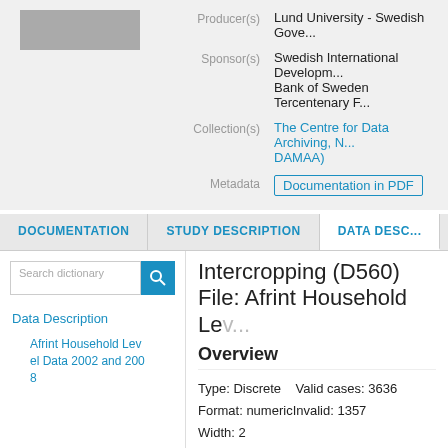[Figure (logo): Gray rectangular logo placeholder]
Producer(s): Lund University - Swedish Gove...
Sponsor(s): Swedish International Developm... Bank of Sweden Tercentenary F...
Collection(s): The Centre for Data Archiving, N... DAMAA)
Metadata: Documentation in PDF
DOCUMENTATION    STUDY DESCRIPTION    DATA DESC...
Search dictionary
Data Description
Afrint Household Level Data 2002 and 2008
Intercropping (D560)
File: Afrint Household Le...
Overview
Type: Discrete   Valid cases: 3636
Format: numericInvalid: 1357
Width: 2
Decimals: 0
Range: -9-5
C... th... bl... t th...